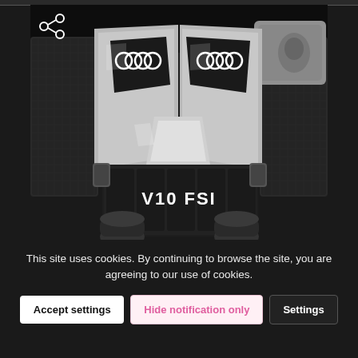[Figure (photo): Close-up photo of an Audi V10 FSI engine bay showing silver engine covers with Audi four-ring logos, carbon fiber side panels, and a dark intake manifold labeled 'V10 FSI'. A share icon is visible in the top-left corner of the photo.]
This site uses cookies. By continuing to browse the site, you are agreeing to our use of cookies.
Accept settings
Hide notification only
Settings